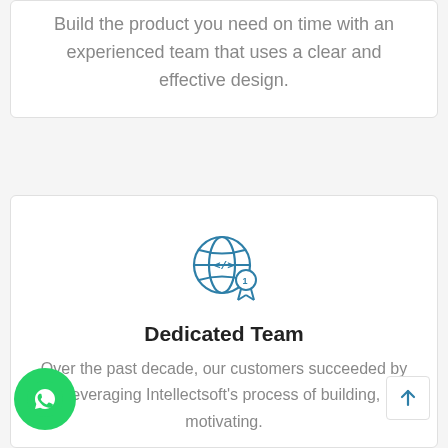Build the product you need on time with an experienced team that uses a clear and effective design.
[Figure (illustration): Globe with code brackets icon and a number-1 award ribbon badge, drawn in teal/blue outline style]
Dedicated Team
Over the past decade, our customers succeeded by leveraging Intellectsoft's process of building, motivating.
[Figure (logo): WhatsApp circular green button icon in bottom left corner]
[Figure (other): Scroll-to-top arrow button in bottom right corner]